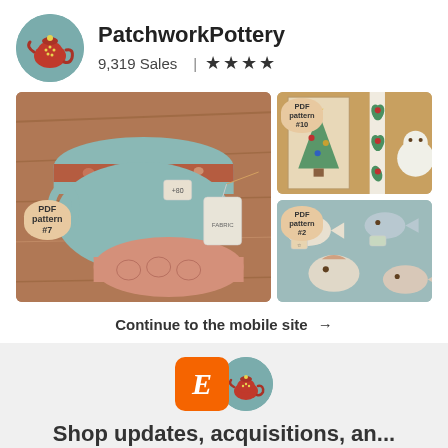PatchworkPottery
9,319 Sales ★★★★
[Figure (photo): Three product photos from PatchworkPottery shop: left large image shows quilted tea bag pouches labeled PDF pattern #7, top right shows Christmas quilt wall hanging labeled PDF pattern #10, bottom right shows stuffed fabric fish ornaments labeled PDF pattern #2]
Continue to the mobile site →
[Figure (logo): Etsy orange square logo with E beside a circular PatchworkPottery shop avatar]
Shop updates, acquisitions, an...